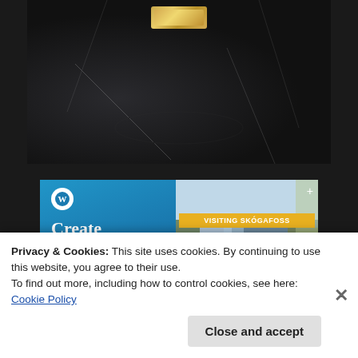[Figure (photo): Close-up photo of a black velvet/fabric handbag with a gold metal clasp/buckle at the top center]
[Figure (screenshot): Advertisement banner showing 'Create immersive stories.' text on blue gradient background with WordPress logo, alongside a photo of Skógafoss waterfall with 'VISITING SKÓGAFOSS' label overlay]
Privacy & Cookies: This site uses cookies. By continuing to use this website, you agree to their use.
To find out more, including how to control cookies, see here: Cookie Policy
Close and accept